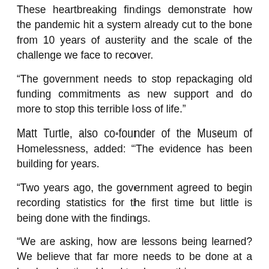These heartbreaking findings demonstrate how the pandemic hit a system already cut to the bone from 10 years of austerity and the scale of the challenge we face to recover.
“The government needs to stop repackaging old funding commitments as new support and do more to stop this terrible loss of life.”
Matt Turtle, also co-founder of the Museum of Homelessness, added: “The evidence has been building for years.
“Two years ago, the government agreed to begin recording statistics for the first time but little is being done with the findings.
“We are asking, how are lessons being learned? We believe that far more needs to be done at a local and national level to change things.
“A national confidential inquiry would help ensure government makes the long-term commitment needed.”
A MHCLG Spokesperson said: “Every death of someone sleeping rough on our streets is a tragedy.